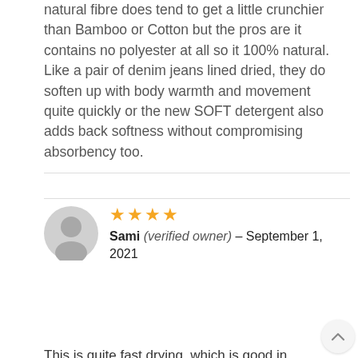natural fibre does tend to get a little crunchier than Bamboo or Cotton but the pros are it contains no polyester at all so it 100% natural. Like a pair of denim jeans lined dried, they do soften up with body warmth and movement quite quickly or the new SOFT detergent also adds back softness without compromising absorbency too.
Sami (verified owner) – September 1, 2021
This is quite fast drying, which is good in colder/wetter months when there's not as much sun to dry the nappy. If I had my time over I would've purchased the bamboo, because after drying, this is not as soft as the other nappies.